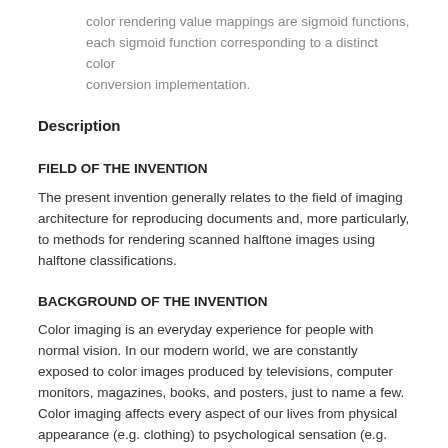color rendering value mappings are sigmoid functions, each sigmoid function corresponding to a distinct color conversion implementation.
Description
FIELD OF THE INVENTION
The present invention generally relates to the field of imaging architecture for reproducing documents and, more particularly, to methods for rendering scanned halftone images using halftone classifications.
BACKGROUND OF THE INVENTION
Color imaging is an everyday experience for people with normal vision. In our modern world, we are constantly exposed to color images produced by televisions, computer monitors, magazines, books, and posters, just to name a few. Color imaging affects every aspect of our lives from physical appearance (e.g. clothing) to psychological sensation (e.g. painting and art forms). As an integral part of daily human experiences, color imaging